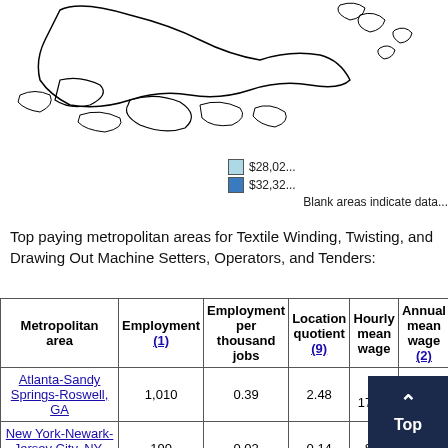[Figure (map): Partial map of US states showing geographic distribution related to Textile Winding, Twisting, and Drawing Out Machine Setters wage data. Map is cropped at top showing coastlines and islands.]
$28,02... (light blue legend entry) and $32,32... (dark blue legend entry). Blank areas indicate data...
Top paying metropolitan areas for Textile Winding, Twisting, and Drawing Out Machine Setters, Operators, and Tenders:
| Metropolitan area | Employment (1) | Employment per thousand jobs | Location quotient (9) | Hourly mean wage | Annual mean wage (2) |
| --- | --- | --- | --- | --- | --- |
| Atlanta-Sandy Springs-Roswell, GA | 1,010 | 0.39 | 2.48 | $ 17.62 | $ 36,660 |
| New York-Newark-Jersey City, NY-NJ-PA | 190 | 0.02 | 0.14 | $ 1[obscured] | [obscured] |
| Augusta-[obscured] |  |  |  |  |  |